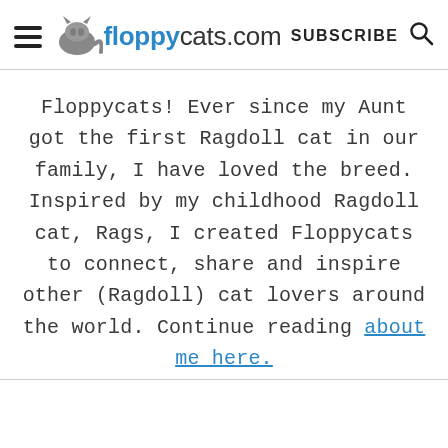floppycats.com | SUBSCRIBE
Floppycats! Ever since my Aunt got the first Ragdoll cat in our family, I have loved the breed. Inspired by my childhood Ragdoll cat, Rags, I created Floppycats to connect, share and inspire other (Ragdoll) cat lovers around the world. Continue reading about me here.